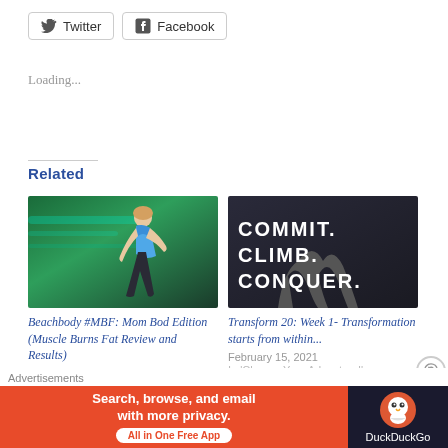[Figure (other): Twitter and Facebook social share buttons]
Loading...
Related
[Figure (photo): Woman in blue sports bra leaning forward in athletic pose with green tinted background]
Beachbody #MBF: Mom Bod Edition (Muscle Burns Fat Review and Results)
May 11, 2021
In 'Baby on Board'
[Figure (photo): Dark athletic image with text COMMIT. CLIMB. CONQUER. showing runner legs]
Transform 20: Week 1- Transformation starts from within...
February 15, 2021
In 'Choose Your Adventure!'
Advertisements
[Figure (other): DuckDuckGo advertisement banner: Search, browse, and email with more privacy. All in One Free App]